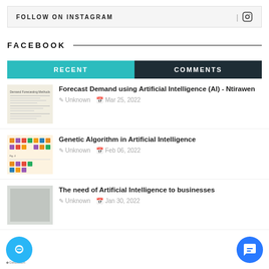FOLLOW ON INSTAGRAM
FACEBOOK
RECENT	COMMENTS
Forecast Demand using Artificial Intelligence (AI) - Ntirawen
Unknown  Mar 25, 2022
Genetic Algorithm in Artificial Intelligence
Unknown  Feb 06, 2022
The need of Artificial Intelligence to businesses
Unknown  Jan 30, 2022